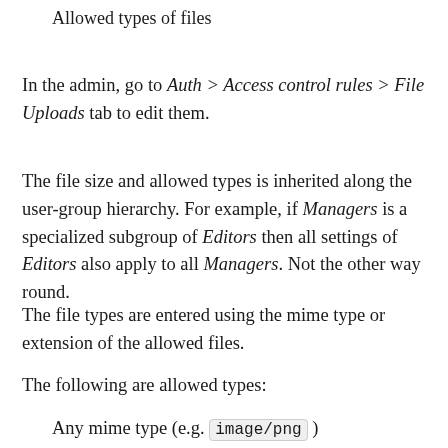Allowed types of files
In the admin, go to Auth > Access control rules > File Uploads tab to edit them.
The file size and allowed types is inherited along the user-group hierarchy. For example, if Managers is a specialized subgroup of Editors then all settings of Editors also apply to all Managers. Not the other way round.
The file types are entered using the mime type or extension of the allowed files.
The following are allowed types:
Any mime type (e.g. image/png )